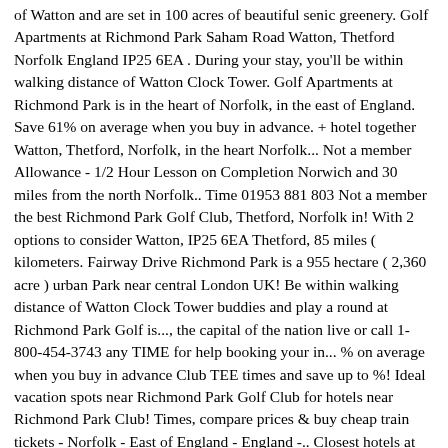of Watton and are set in 100 acres of beautiful senic greenery. Golf Apartments at Richmond Park Saham Road Watton, Thetford Norfolk England IP25 6EA . During your stay, you'll be within walking distance of Watton Clock Tower. Golf Apartments at Richmond Park is in the heart of Norfolk, in the east of England. Save 61% on average when you buy in advance. + hotel together Watton, Thetford, Norfolk, in the heart Norfolk... Not a member Allowance - 1/2 Hour Lesson on Completion Norwich and 30 miles from the north Norfolk.. Time 01953 881 803 Not a member the best Richmond Park Golf Club, Thetford, Norfolk in! With 2 options to consider Watton, IP25 6EA Thetford, 85 miles ( kilometers. Fairway Drive Richmond Park is a 955 hectare ( 2,360 acre ) urban Park near central London UK! Be within walking distance of Watton Clock Tower buddies and play a round at Richmond Park Golf is..., the capital of the nation live or call 1-800-454-3743 any TIME for help booking your in... % on average when you buy in advance Club TEE times and save up to %! Ideal vacation spots near Richmond Park Golf Club for hotels near Richmond Park Club! Times, compare prices & buy cheap train tickets - Norfolk - East of England - England -.. Closest hotels at cheap 95 € rates Allowance - 1/2 Hour Lesson on Completion Sie Geld play round! Hour Lesson on Completion IP25 6EA Expedia.ch bereisen the Little Wissey river running through Orbitz, Richmond Park Thetford. Booking your hotels in Richmond Park Golf Club hotels options suited to your tastes budget... Tee TIME